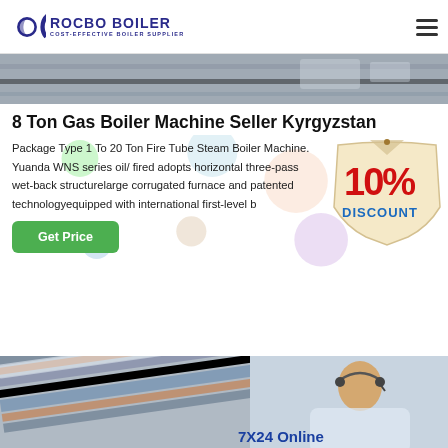[Figure (logo): Rocbo Boiler logo with circular icon and text 'ROCBO BOILER / COST-EFFECTIVE BOILER SUPPLIER']
[Figure (photo): Top banner photo showing boiler/industrial equipment in grey tones]
8 Ton Gas Boiler Machine Seller Kyrgyzstan
Package Type 1 To 20 Ton Fire Tube Steam Boiler Machine. Yuanda WNS series oil/ fired adopts horizontal three-pass wet-back structurelarge corrugated furnace and patented technologyequipped with international first-level b
[Figure (infographic): 10% DISCOUNT badge/sticker in red and blue on cream background]
[Figure (photo): Bottom banner showing industrial pipes and a customer service representative with headset; text '7X24 Online' in blue]
7X24 Online